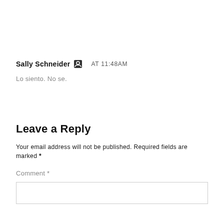Sally Schneider  [icon]  AT 11:48AM
Lo siento. No se.
Leave a Reply
Your email address will not be published. Required fields are marked *
Comment *